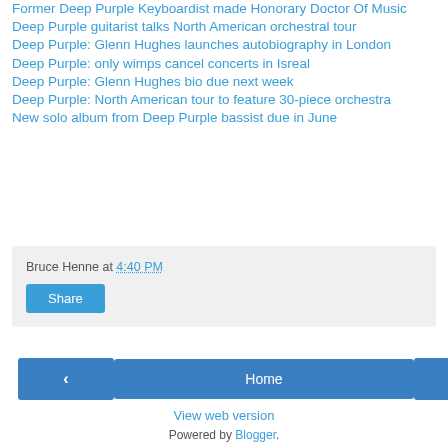Former Deep Purple Keyboardist made Honorary Doctor Of Music
Deep Purple guitarist talks North American orchestral tour
Deep Purple: Glenn Hughes launches autobiography in London
Deep Purple: only wimps cancel concerts in Isreal
Deep Purple: Glenn Hughes bio due next week
Deep Purple: North American tour to feature 30-piece orchestra
New solo album from Deep Purple bassist due in June
Bruce Henne at 4:40 PM
Share
‹
Home
›
View web version
Powered by Blogger.